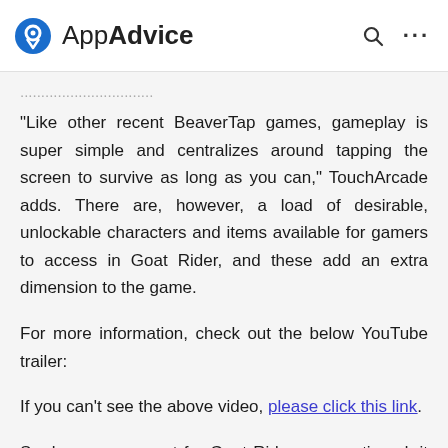AppAdvice
"Like other recent BeaverTap games, gameplay is super simple and centralizes around tapping the screen to survive as long as you can," TouchArcade adds. There are, however, a load of desirable, unlockable characters and items available for gamers to access in Goat Rider, and these add an extra dimension to the game.
For more information, check out the below YouTube trailer:
If you can't see the above video, please click this link.
So, keep an eye out for Goat Rider; as mentioned, it should be gracing the App Store later this week, and likely on Thursday. As usual, we'll let you know once it's available to download.
For more recent app news, check out our coverage of Waze's